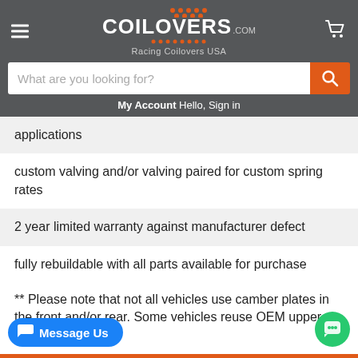COILOVERS.COM Racing Coilovers USA
applications
custom valving and/or valving paired for custom spring rates
2 year limited warranty against manufacturer defect
fully rebuildable with all parts available for purchase
** Please note that not all vehicles use camber plates in the front and/or rear. Some vehicles reuse OEM upper mo
Message Us